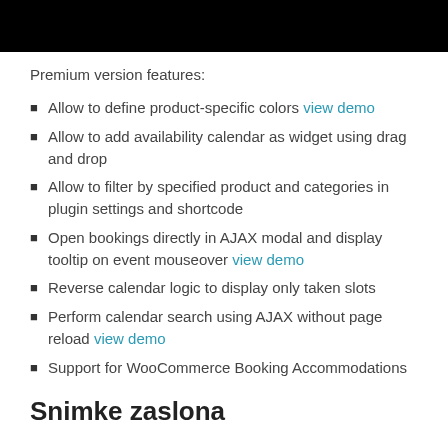[Figure (other): Black banner/header bar at top of page]
Premium version features:
Allow to define product-specific colors view demo
Allow to add availability calendar as widget using drag and drop
Allow to filter by specified product and categories in plugin settings and shortcode
Open bookings directly in AJAX modal and display tooltip on event mouseover view demo
Reverse calendar logic to display only taken slots
Perform calendar search using AJAX without page reload view demo
Support for WooCommerce Booking Accommodations
Snimke zaslona